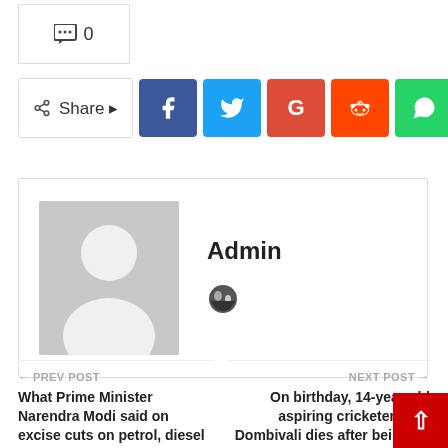💬 0
Share (Facebook, Twitter, Google+, Reddit, WhatsApp, +)
Admin
[Figure (illustration): Globe/website icon]
← PREV POST
What Prime Minister Narendra Modi said on excise cuts on petrol, diesel prices
NEXT POST →
On birthday, 14-year-old aspiring cricketer from Dombivali dies after being hit by car